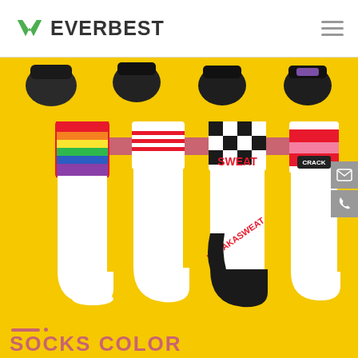EVERBEST
[Figure (photo): Four decorative crew socks displayed on yellow background with a pink/red banner behind them. From left to right: rainbow striped top sock (white with rainbow color block cuff), white sock with vertical text 'REALPYH' and red stripes, black-and-white checkered top sock with red 'SWEAT' text and 'FREAKASWEAT' on the leg, and a white sock with red/pink stripe and dark 'CRACK' label. Above the main display are partial views of four dark socks. Side panel has email and phone contact icons.]
SOCKS COLOR